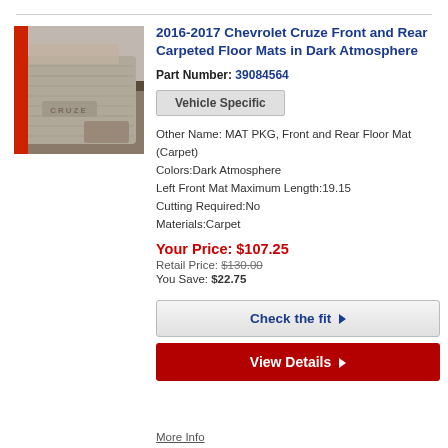[Figure (photo): Photo of gray/tan carpeted floor mats for Chevrolet Cruze, showing the mats installed in the front of a car with CRUZE logo embroidered.]
2016-2017 Chevrolet Cruze Front and Rear Carpeted Floor Mats in Dark Atmosphere
Part Number: 39084564
Vehicle Specific
Other Name: MAT PKG, Front and Rear Floor Mat (Carpet)
Colors:Dark Atmosphere
Left Front Mat Maximum Length:19.15
Cutting Required:No
Materials:Carpet
Your Price: $107.25
Retail Price: $130.00
You Save: $22.75
Check the fit
View Details
More Info